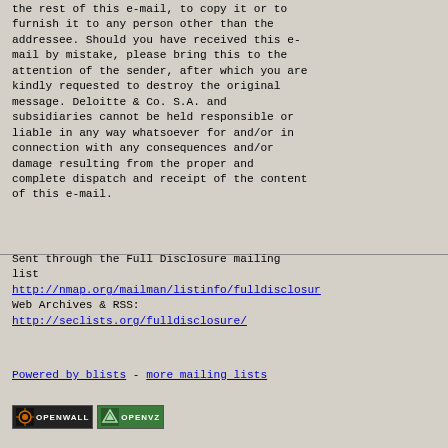the rest of this e-mail, to copy it or to furnish it to any person other than the addressee. Should you have received this e-mail by mistake, please bring this to the attention of the sender, after which you are kindly requested to destroy the original message. Deloitte & Co. S.A. and subsidiaries cannot be held responsible or liable in any way whatsoever for and/or in connection with any consequences and/or damage resulting from the proper and complete dispatch and receipt of the content of this e-mail.
Sent through the Full Disclosure mailing list
http://nmap.org/mailman/listinfo/fulldisclosure
Web Archives & RSS:
http://seclists.org/fulldisclosure/
Powered by blists - more mailing lists
[Figure (logo): Openwall logo badge and OpenVZ logo badge]